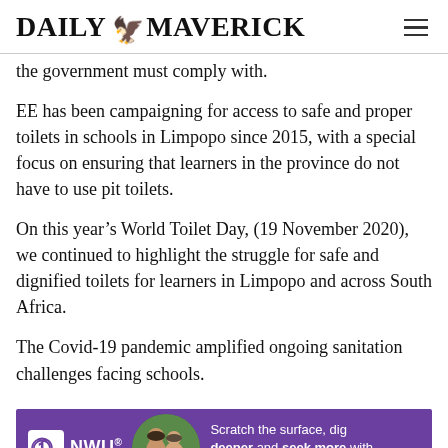DAILY MAVERICK
the government must comply with.
EE has been campaigning for access to safe and proper toilets in schools in Limpopo since 2015, with a special focus on ensuring that learners in the province do not have to use pit toilets.
On this year’s World Toilet Day, (19 November 2020), we continued to highlight the struggle for safe and dignified toilets for learners in Limpopo and across South Africa.
The Covid-19 pandemic amplified ongoing sanitation challenges facing schools.
[Figure (infographic): NWU advertisement banner with purple background showing NWU logo, a couple photo, and text: Scratch the surface, dig deeper and seek more with the North-West University!]